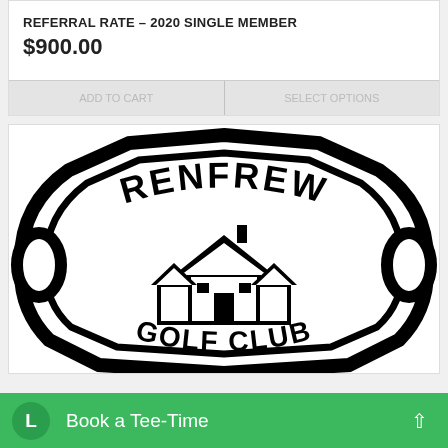REFERRAL RATE – 2020 SINGLE MEMBER
$900.00
[Figure (logo): Renfrew Golf Club black and white crest logo showing the text RENFREW across the top arc, GOLF CLUB along the bottom arc, and a clubhouse building in the center, all within a shield/badge shape with thick black border]
Book a Tee-Time